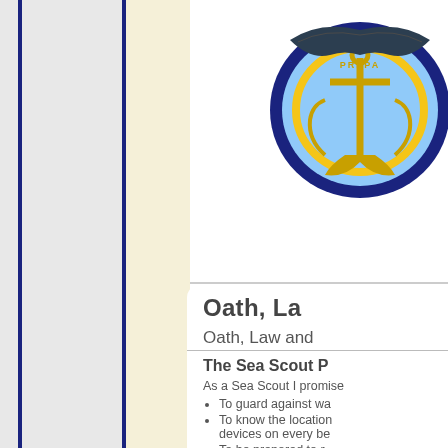[Figure (logo): Sea Scout emblem/badge with anchor and eagle, blue and gold colors, partially cropped at top]
Oath, La
Oath, Law and
The Sea Scout P
As a Sea Scout I promise
To guard against wa
To know the location devices on every be
To be prepared to r
To seek to preserve Children First